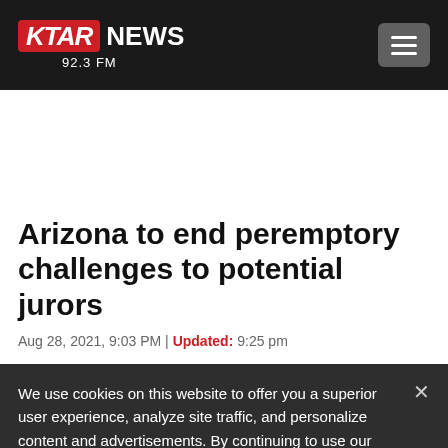KTAR NEWS 92.3 FM
Arizona to end peremptory challenges to potential jurors
Aug 28, 2021, 9:03 PM | Updated: 9:25 pm
We use cookies on this website to offer you a superior user experience, analyze site traffic, and personalize content and advertisements. By continuing to use our site, you consent to our use of cookies. Please visit our Privacy Policy for more information.